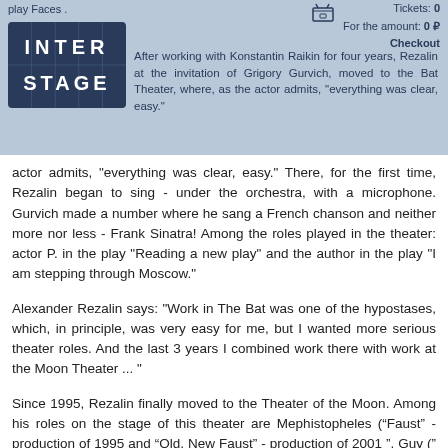play Faces .
[Figure (logo): INTER STAGE logo — white text on dark blue square grid background]
Tickets: 0  For the amount: 0 ₽  Checkout
After working with Konstantin Raikin for four years, Rezalin at the invitation of Grigory Gurvich, moved to the Bat Theater, where, as the actor admits, "everything was clear, easy." There, for the first time, Rezalin began to sing - under the orchestra, with a microphone. Gurvich made a number where he sang a French chanson and neither more nor less - Frank Sinatra! Among the roles played in the theater: actor P. in the play "Reading a new play" and the author in the play "I am stepping through Moscow."
Alexander Rezalin says: "Work in The Bat was one of the hypostases, which, in principle, was very easy for me, but I wanted more serious theater roles. And the last 3 years I combined work there with work at the Moon Theater ... "
Since 1995, Rezalin finally moved to the Theater of the Moon. Among his roles on the stage of this theater are Mephistopheles (“Faust” - production of 1995 and “Old, New Faust” - production of 2001 ”, Guy (” Dreams of an adult Robinson ”- 1995), Darius (” Thais shining ”- 1998) .
In addition to the Moon Theater, Alexander Rezalin performs in other theaters and